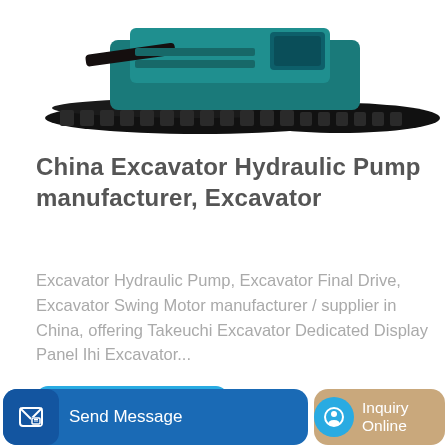[Figure (photo): Partial view of a black/teal excavator on tracks, cropped at the top of the page]
China Excavator Hydraulic Pump manufacturer, Excavator
Excavator Hydraulic Pump, Excavator Final Drive, Excavator Swing Motor manufacturer / supplier in China, offering Takeuchi Excavator Dedicated Display Panel Ihi Excavator...
Learn More
[Figure (photo): Yellow CAT excavator arm and body, partially visible in the lower portion of the page]
Send Message
Inquiry Online